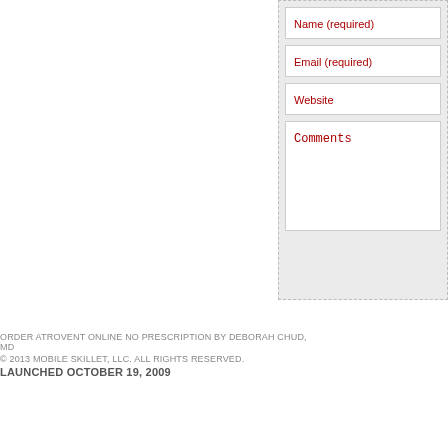[Figure (screenshot): Web form sidebar with fields: Name (required), Email (required), Website, Comments on a light gray background with dashed border]
ORDER ATROVENT ONLINE NO PRESCRIPTION BY DEBORAH CHUD, MD
© 2013 MOBILE SKILLET, LLC. ALL RIGHTS RESERVED.
LAUNCHED OCTOBER 19, 2009